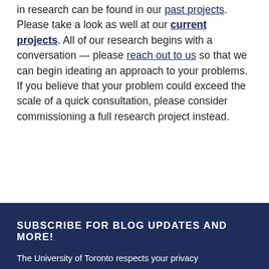in research can be found in our past projects. Please take a look as well at our current projects. All of our research begins with a conversation — please reach out to us so that we can begin ideating an approach to your problems. If you believe that your problem could exceed the scale of a quick consultation, please consider commissioning a full research project instead.
SUBSCRIBE FOR BLOG UPDATES AND MORE!
The University of Toronto respects your privacy